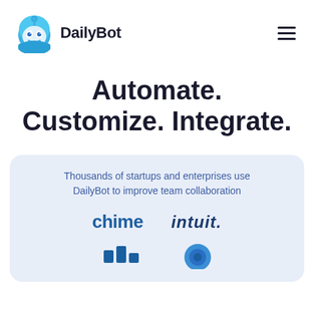[Figure (logo): DailyBot logo: teal/blue robot head icon with the text DailyBot in dark bold font]
Automate. Customize. Integrate.
Thousands of startups and enterprises use DailyBot to improve team collaboration
[Figure (logo): chime logo in blue bold text]
[Figure (logo): intuit logo in dark blue italic bold text with a dot]
[Figure (logo): Partial logos visible at bottom of card]